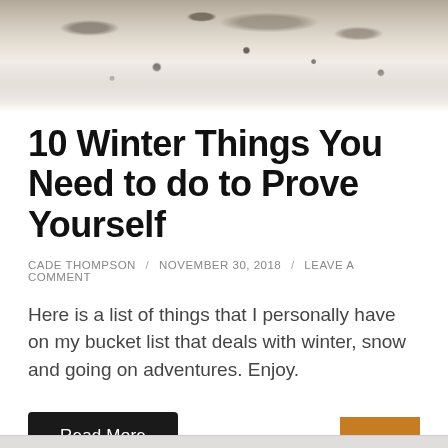[Figure (photo): Winter snow scene with rocks and debris on a snowy surface, close-up ground-level view with dark rocky silhouettes at the top]
10 Winter Things You Need to do to Prove Yourself
CADE THOMPSON / NOVEMBER 30, 2018 / LEAVE A COMMENT
Here is a list of things that I personally have on my bucket list that deals with winter, snow and going on adventures. Enjoy.
Read More
Up